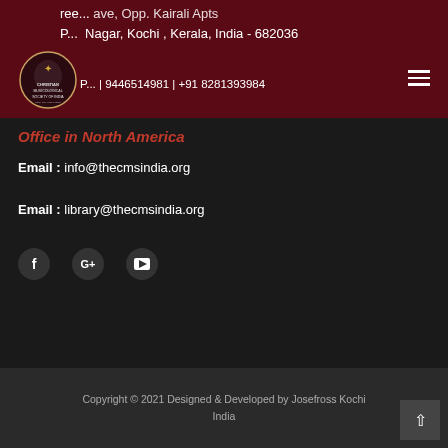ree... ave, Opp. Kairali Apts
P... Nagar, Kochi , Kerala, India - 682036
P... | 9446514981 | +91 8281393984
[Figure (logo): Christian Musicological Society of India logo - circular emblem with cherub]
Office in North America
Email : info@thecmsindia.org
Email : library@thecmsindia.org
[Figure (infographic): Social media icons: Facebook (f), Google+ (G+), YouTube (play button)]
Copyright © 2021 Designed & Developed by Josefross Kochi India